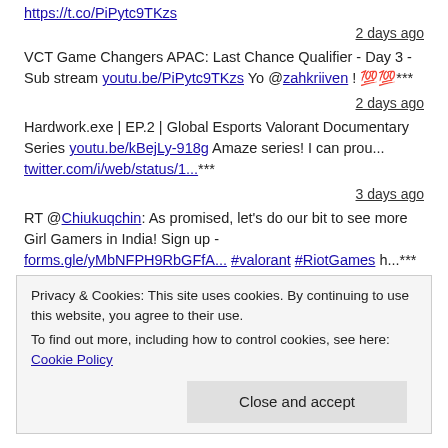https://t.co/PiPytc9TKzs (truncated link at top)
2 days ago
VCT Game Changers APAC: Last Chance Qualifier - Day 3 - Sub stream youtu.be/PiPytc9TKzs Yo @zahkriiven ! 💯💯***
2 days ago
Hardwork.exe | EP.2 | Global Esports Valorant Documentary Series youtu.be/kBejLy-918g Amaze series! I can prou... twitter.com/i/web/status/1...***
3 days ago
RT @Chiukuqchin: As promised, let's do our bit to see more Girl Gamers in India! Sign up - forms.gle/yMbNFPH9RbGFfA... #valorant #RiotGames h...***
5 days ago
Privacy & Cookies: This site uses cookies. By continuing to use this website, you agree to their use. To find out more, including how to control cookies, see here: Cookie Policy